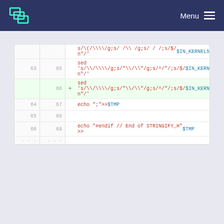Menu
Code diff showing sed commands with kernel string replacements, lines 63-69, with line 66 added.
Please register or sign in to comment